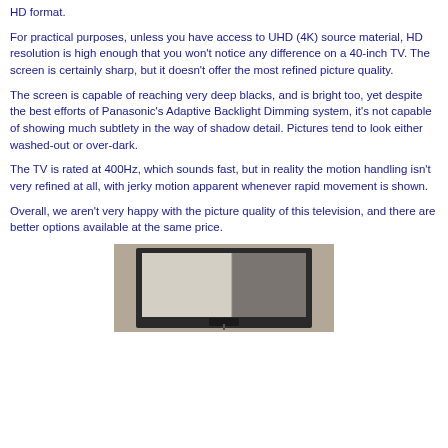HD format.
For practical purposes, unless you have access to UHD (4K) source material, HD resolution is high enough that you won't notice any difference on a 40-inch TV. The screen is certainly sharp, but it doesn't offer the most refined picture quality.
The screen is capable of reaching very deep blacks, and is bright too, yet despite the best efforts of Panasonic's Adaptive Backlight Dimming system, it's not capable of showing much subtlety in the way of shadow detail. Pictures tend to look either washed-out or over-dark.
The TV is rated at 400Hz, which sounds fast, but in reality the motion handling isn't very refined at all, with jerky motion apparent whenever rapid movement is shown.
Overall, we aren't very happy with the picture quality of this television, and there are better options available at the same price.
[Figure (photo): Photo of a TV screen showing a test image with light and dark sections, set against a brown/tan background]